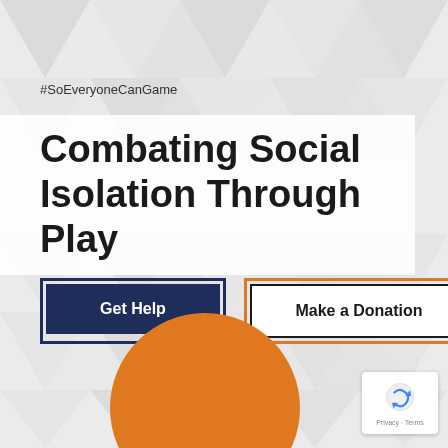[Figure (illustration): Light grey geometric triangle pattern background covering the full page]
#SoEveryoneCanGame
Combating Social Isolation Through Play
Get Help
Make a Donation
[Figure (illustration): Orange half-circle at bottom center of page]
[Figure (other): reCAPTCHA badge in bottom right corner with Privacy and Terms text]